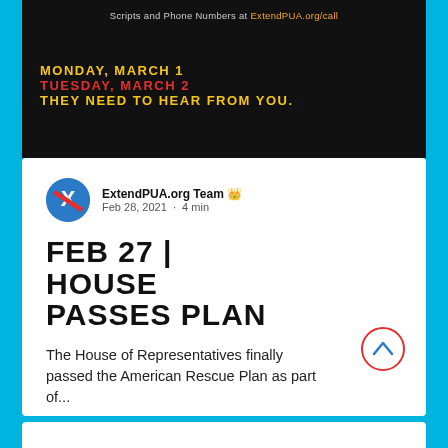Scripts and Phone Numbers at ExtendPUA.org/call
MONDAY, MARCH 1
TUESDAY, MARCH 2
THEY NEED TO HEAR FROM YOU.
ExtendPUA.org Team  Feb 28, 2021 · 4 min
FEB 27 | HOUSE PASSES PLAN
The House of Representatives finally passed the American Rescue Plan as part of...